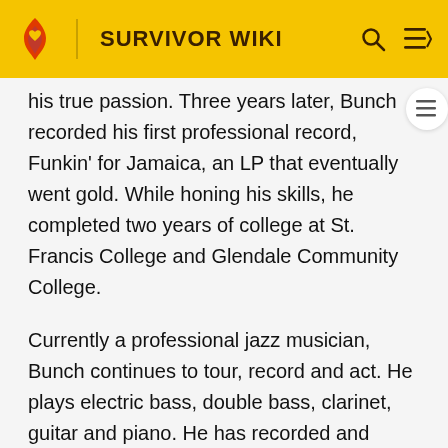SURVIVOR WIKI
his true passion. Three years later, Bunch recorded his first professional record, Funkin' for Jamaica, an LP that eventually went gold. While honing his skills, he completed two years of college at St. Francis College and Glendale Community College.
Currently a professional jazz musician, Bunch continues to tour, record and act. He plays electric bass, double bass, clarinet, guitar and piano. He has recorded and performed with Will Downing, Lalah Hathaway, George Benson, Quincy Jones, Coolio, Michael Jackson, Liza Minnelli, Luther Vandross, Roger Daltry, Paul Anka, Anita Baker, Wayne Shorter, Ray Charles and Ice Cube, among others. He co-wrote the Tom Browne single, "Thighs High."